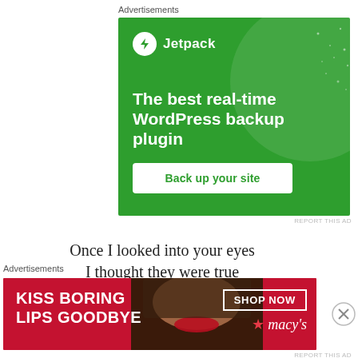Advertisements
[Figure (illustration): Jetpack advertisement banner on green background. Shows Jetpack logo (lightning bolt icon in white circle) and name, large decorative circle, headline 'The best real-time WordPress backup plugin', and a white CTA button 'Back up your site'.]
REPORT THIS AD
Once I looked into your eyes
I thought they were true
Advertisements
[Figure (illustration): Macy's advertisement banner on red background. Shows 'KISS BORING LIPS GOODBYE' text, photo of woman with red lips, 'SHOP NOW' button, and Macy's star logo.]
REPORT THIS AD